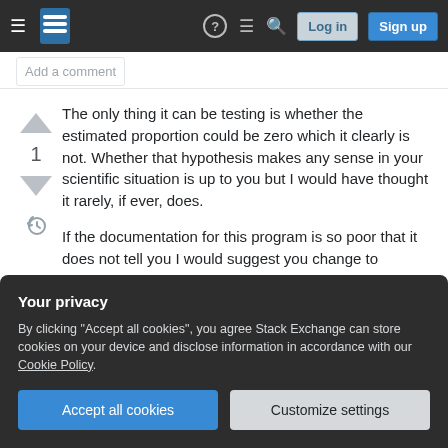[Figure (screenshot): Stack Exchange navigation bar with hamburger menu, logo, question mark, comment, search icons, Log in and Sign up buttons]
Add a comment
The only thing it can be testing is whether the estimated proportion could be zero which it clearly is not. Whether that hypothesis makes any sense in your scientific situation is up to you but I would have thought it rarely, if ever, does.

If the documentation for this program is so poor that it does not tell you I would suggest you change to
Your privacy
By clicking "Accept all cookies", you agree Stack Exchange can store cookies on your device and disclose information in accordance with our Cookie Policy.
Accept all cookies
Customize settings
Add a comment